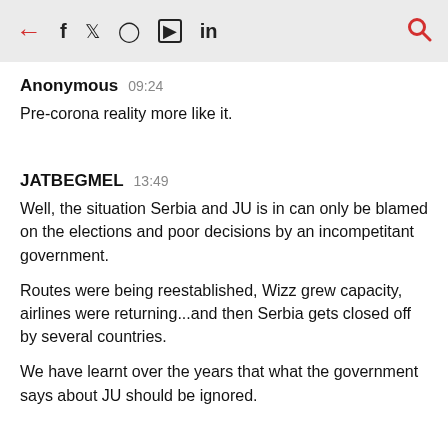← f 𝕏 Instagram YouTube in 🔍
Anonymous  09:24
Pre-corona reality more like it.
JATBEGMEL  13:49
Well, the situation Serbia and JU is in can only be blamed on the elections and poor decisions by an incompetitant government.

Routes were being reestablished, Wizz grew capacity, airlines were returning...and then Serbia gets closed off by several countries.

We have learnt over the years that what the government says about JU should be ignored.